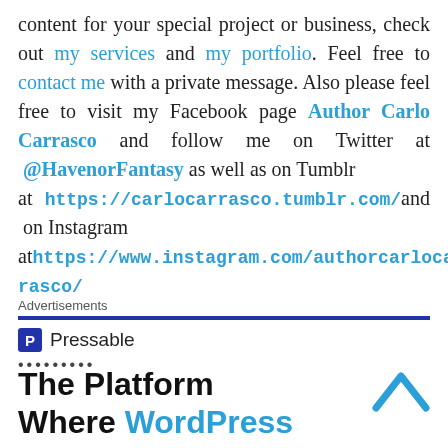content for your special project or business, check out my services and my portfolio. Feel free to contact me with a private message. Also please feel free to visit my Facebook page Author Carlo Carrasco and follow me on Twitter at @HavenorFantasy as well as on Tumblr at https://carlocarrasco.tumblr.com/ and on Instagram at https://www.instagram.com/authorcarlocarrasco/
Advertisements
[Figure (logo): Pressable logo with blue P icon and text 'Pressable']
.........
The Platform Where WordPress